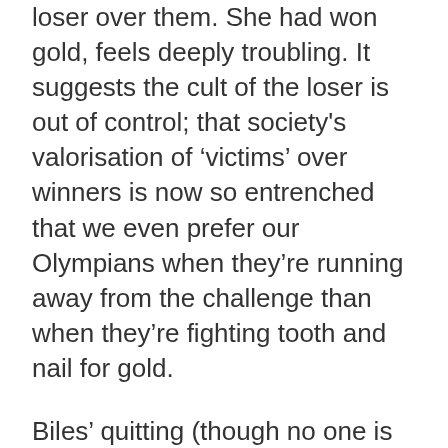loser over them. She had won gold, feels deeply troubling. It suggests the cult of the loser is out of control; that society's valorisation of 'victims' over winners is now so entrenched that we even prefer our Olympians when they're running away from the challenge than when they're fighting tooth and nail for gold.
Biles' quitting (though no one is calling it that) sent shockwaves through the world media yesterday. She wobbled during her vault, seemed to lose her focus, and didn't manage to do all the twists and turns she had planned to. Far be it from the performance a result...